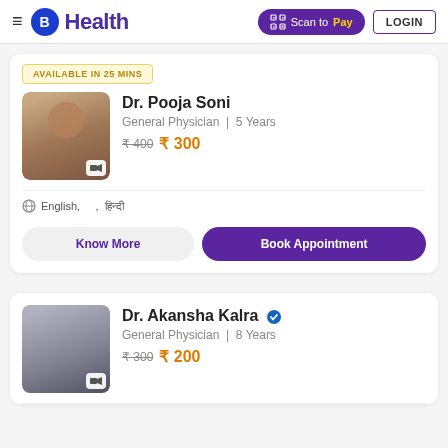B Health — Scan to Pay — LOGIN
AVAILABLE IN 25 MINS
Dr. Pooja Soni
General Physician | 5 Years
₹400 ₹300
English, , हिन्दी
Know More
Book Appointment
Dr. Akansha Kalra ✓
General Physician | 8 Years
₹300 ₹200